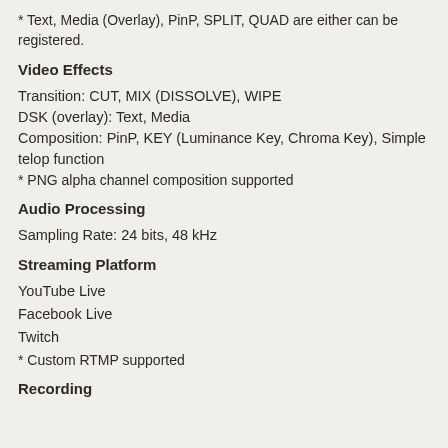* Text, Media (Overlay), PinP, SPLIT, QUAD are either can be registered.
Video Effects
Transition: CUT, MIX (DISSOLVE), WIPE
DSK (overlay): Text, Media
Composition: PinP, KEY (Luminance Key, Chroma Key), Simple telop function
* PNG alpha channel composition supported
Audio Processing
Sampling Rate: 24 bits, 48 kHz
Streaming Platform
YouTube Live
Facebook Live
Twitch
* Custom RTMP supported
Recording